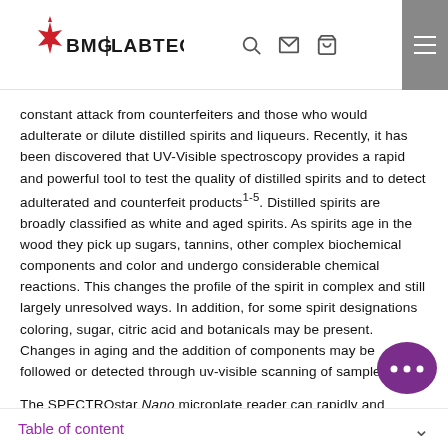BMG LABTECH
constant attack from counterfeiters and those who would adulterate or dilute distilled spirits and liqueurs. Recently, it has been discovered that UV-Visible spectroscopy provides a rapid and powerful tool to test the quality of distilled spirits and to detect adulterated and counterfeit products1-5. Distilled spirits are broadly classified as white and aged spirits. As spirits age in the wood they pick up sugars, tannins, other complex biochemical components and color and undergo considerable chemical reactions. This changes the profile of the spirit in complex and still largely unresolved ways. In addition, for some spirit designations coloring, sugar, citric acid and botanicals may be present. Changes in aging and the addition of components may be followed or detected through uv-visible scanning of samples.
The SPECTROstar Nano microplate reader can rapidly and precisely measure the spectra of mu…
Table of content